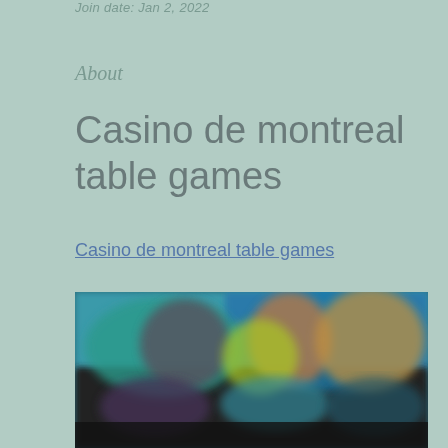Join date: Jan 2, 2022
About
Casino de montreal table games
Casino de montreal table games
[Figure (photo): Blurred screenshot showing a casino or gaming interface with colorful characters and game tables visible]